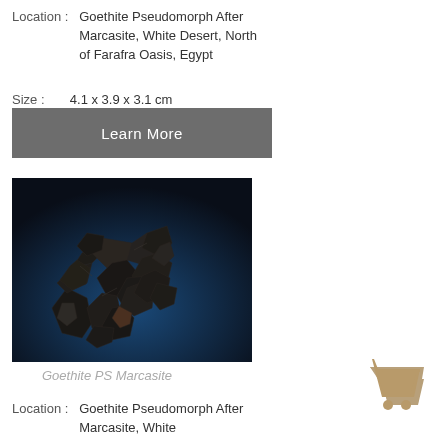Location : Goethite Pseudomorph After Marcasite, White Desert, North of Farafra Oasis, Egypt
Size : 4.1 x 3.9 x 3.1 cm
Learn More
[Figure (photo): Dark brownish-black goethite pseudomorph after marcasite mineral specimen on dark blue background]
Goethite PS Marcasite
Location : Goethite Pseudomorph After Marcasite, White
[Figure (illustration): Shopping cart icon in tan/beige color]